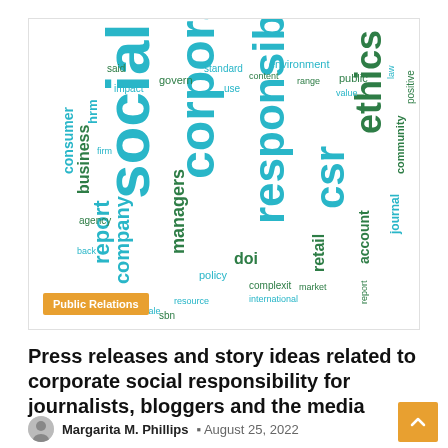[Figure (illustration): Word cloud related to corporate social responsibility with words like social, corporate, responsibility, csr, ethics, report, company, managers, doi, hrm, business, governance, retail, account, journal, policy, resource, consumer, etc. in teal, blue, and green colors. A golden 'Public Relations' badge is overlaid at the bottom-left.]
Press releases and story ideas related to corporate social responsibility for journalists, bloggers and the media
Margarita M. Phillips  August 25, 2022
NEW YORK–(BUSINESS WIRE)–Below are the late corporate social responsibility press releases and story ideas available on Business…